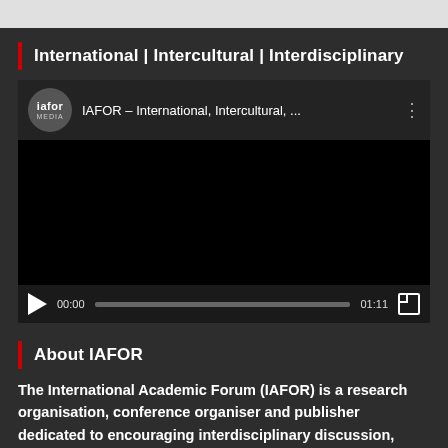International | Intercultural | Interdisciplinary
[Figure (screenshot): Embedded video player showing IAFOR Media video titled 'IAFOR – International, Intercultural, ...' with black video area, play button, progress bar showing 00:00 / 01:11, and fullscreen button]
About IAFOR
The International Academic Forum (IAFOR) is a research organisation, conference organiser and publisher dedicated to encouraging interdisciplinary discussion, facilitating